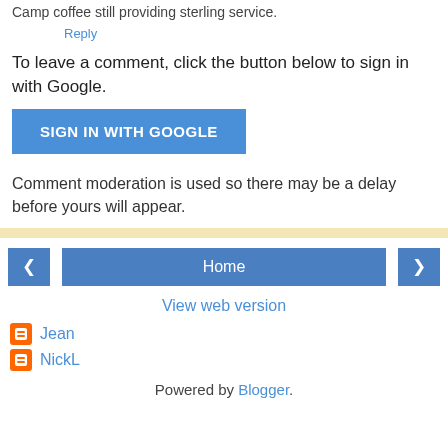Camp coffee still providing sterling service.
Reply
To leave a comment, click the button below to sign in with Google.
[Figure (other): Blue button labeled SIGN IN WITH GOOGLE]
Comment moderation is used so there may be a delay before yours will appear.
[Figure (other): Navigation bar with left arrow, Home button, and right arrow]
View web version
Jean
NickL
Powered by Blogger.